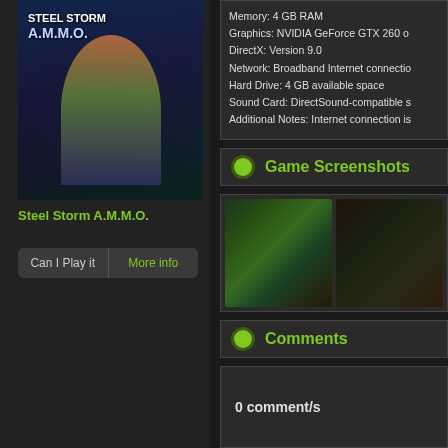[Figure (screenshot): Steel Storm A.M.M.O. game cover art showing an anime-style female character with sci-fi background]
Steel Storm A.M.M.O.
Can I Play it   More info
Memory: 4 GB RAM
Graphics: NVIDIA GeForce GTX 260 o
DirectX: Version 9.0
Network: Broadband Internet connectio
Hard Drive: 4 GB available space
Sound Card: DirectSound-compatible s
Additional Notes: Internet connection is
Game Screenshots
[Figure (screenshot): Game screenshot 1 showing gameplay]
[Figure (screenshot): Game screenshot 2 showing gameplay]
Comments
0 comment/s